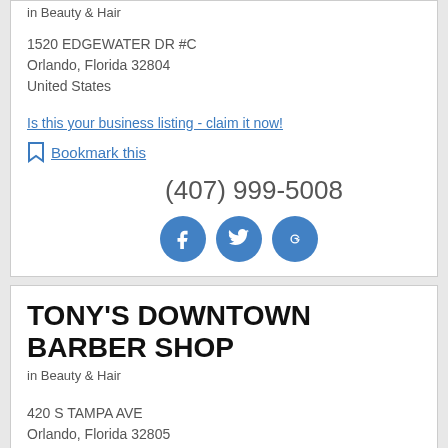in Beauty & Hair
1520 EDGEWATER DR #C
Orlando, Florida 32804
United States
Is this your business listing - claim it now!
Bookmark this
(407) 999-5008
[Figure (infographic): Social media icons: Facebook, Twitter, Google+]
TONY'S DOWNTOWN BARBER SHOP
in Beauty & Hair
420 S TAMPA AVE
Orlando, Florida 32805
United States